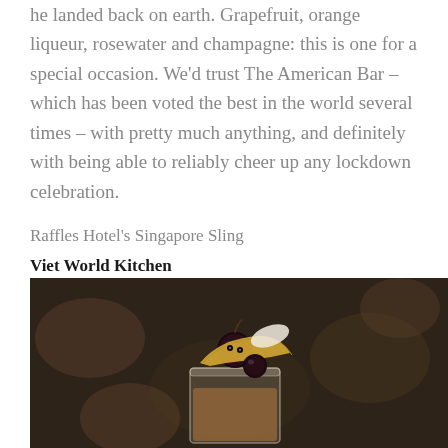he landed back on earth. Grapefruit, orange liqueur, rosewater and champagne: this is one for a special occasion. We'd trust The American Bar – which has been voted the best in the world several times – with pretty much anything, and definitely with being able to reliably cheer up any lockdown celebration.
Raffles Hotel's Singapore Sling
Viet World Kitchen
[Figure (photo): A cocktail glass containing a Singapore Sling garnished with a decorative fruit arrangement resembling a bird or animal face, including a cherry and pineapple slice, set against a dark blurred background.]